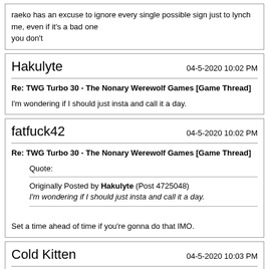raeko has an excuse to ignore every single possible sign just to lynch me, even if it's a bad one
you don't
Hakulyte  04-5-2020 10:02 PM
Re: TWG Turbo 30 - The Nonary Werewolf Games [Game Thread]
I'm wondering if I should just insta and call it a day.
fatfuck42  04-5-2020 10:02 PM
Re: TWG Turbo 30 - The Nonary Werewolf Games [Game Thread]
Quote:
Originally Posted by Hakulyte (Post 4725048)
I'm wondering if I should just insta and call it a day.
Set a time ahead of time if you're gonna do that IMO.
Cold Kitten  04-5-2020 10:03 PM